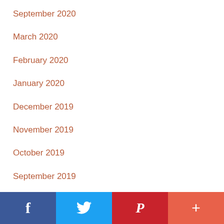September 2020
March 2020
February 2020
January 2020
December 2019
November 2019
October 2019
September 2019
August 2019
July 2019
June 2019
May 2019
Facebook | Twitter | Pinterest | +